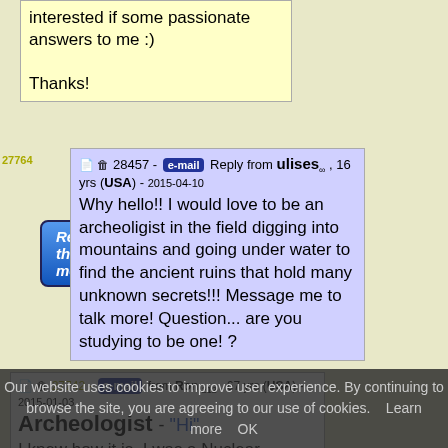interested if some passionate answers to me :)

Thanks!
Reply to this message
28457 - e-mail Reply from ulises, 16 yrs (USA) - 2015-04-10
Why hello!! I would love to be an archeoligist in the field digging into mountains and going under water to find the ancient ruins that hold many unknown secrets!!! Message me to talk more! Question... are you studying to be one! ?
27742 - e-mail from Ron 212 , 67 yrs (USA) - 2015-01-03
Archeologist - "Hi"
I knew how it is, I was a Nuclear
Our website uses cookies to improve user experience. By continuing to browse the site, you are agreeing to our use of cookies.    Learn more    OK